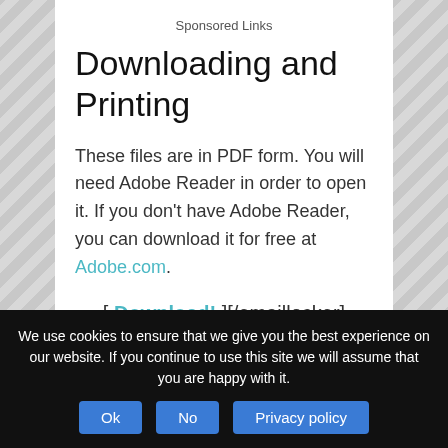Sponsored Links
Downloading and Printing
These files are in PDF form. You will need Adobe Reader in order to open it. If you don't have Adobe Reader, you can download it for free at Adobe.com.
[ Download! ][/emaillocker]
We are a participant in the Amazon Services LLC Associates Program, an affiliate advertising program designed to provide a means for us to
We use cookies to ensure that we give you the best experience on our website. If you continue to use this site we will assume that you are happy with it.